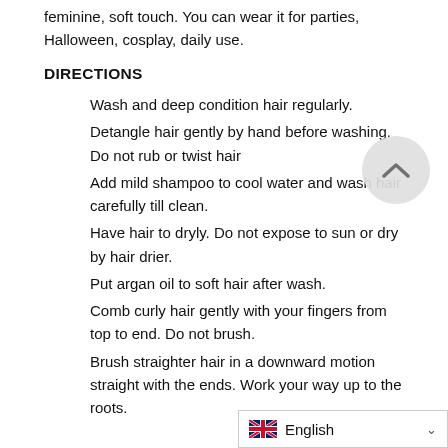feminine, soft touch. You can wear it for parties, Halloween, cosplay, daily use.
DIRECTIONS
Wash and deep condition hair regularly.
Detangle hair gently by hand before washing. Do not rub or twist hair
Add mild shampoo to cool water and wash hair carefully till clean.
Have hair to dryly. Do not expose to sun or dry by hair drier.
Put argan oil to soft hair after wash.
Comb curly hair gently with your fingers from top to end. Do not brush.
Brush straighter hair in a downward motion straight with the ends. Work your way up to the roots.